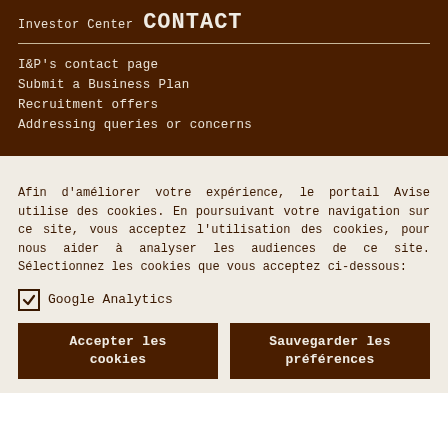Investor Center
CONTACT
I&P's contact page
Submit a Business Plan
Recruitment offers
Addressing queries or concerns
Afin d'améliorer votre expérience, le portail Avise utilise des cookies. En poursuivant votre navigation sur ce site, vous acceptez l'utilisation des cookies, pour nous aider à analyser les audiences de ce site. Sélectionnez les cookies que vous acceptez ci-dessous:
Google Analytics
Accepter les cookies
Sauvegarder les préférences